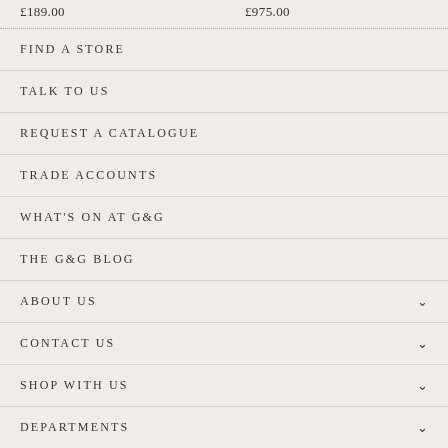£189.00    £975.00
FIND A STORE
TALK TO US
REQUEST A CATALOGUE
TRADE ACCOUNTS
WHAT'S ON AT G&G
THE G&G BLOG
ABOUT US
CONTACT US
SHOP WITH US
DEPARTMENTS